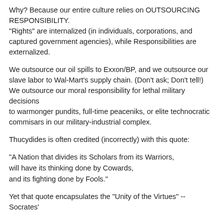Why? Because our entire culture relies on OUTSOURCING RESPONSIBILITY.
"Rights" are internalized (in individuals, corporations, and captured government agencies), while Responsibilities are externalized.
We outsource our oil spills to Exxon/BP, and we outsource our slave labor to Wal-Mart's supply chain. (Don't ask; Don't tell!)
We outsource our moral responsibility for lethal military decisions
to warmonger pundits, full-time peaceniks, or elite technocratic commisars in our military-industrial complex.
Thucydides is often credited (incorrectly) with this quote:
"A Nation that divides its Scholars from its Warriors,
will have its thinking done by Cowards,
and its fighting done by Fools."
Yet that quote encapsulates the "Unity of the Virtues" --
Socrates'